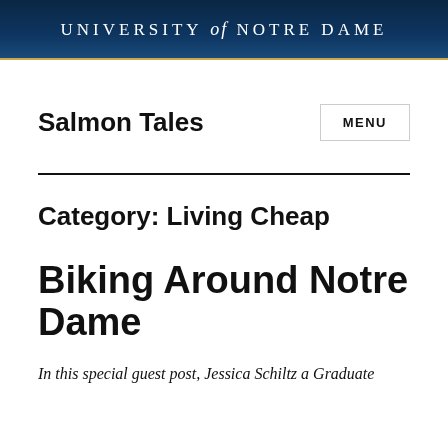UNIVERSITY of NOTRE DAME
Salmon Tales
Category: Living Cheap
Biking Around Notre Dame
In this special guest post, Jessica Schiltz a Graduate